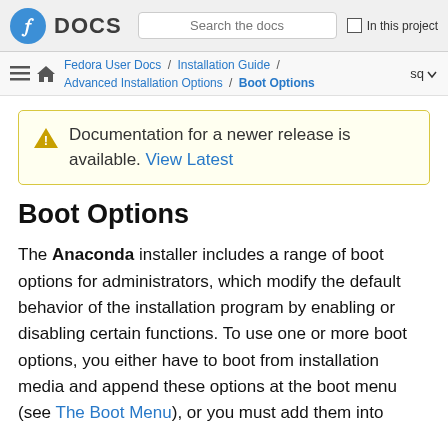Fedora DOCS | Search the docs | In this project
Fedora User Docs / Installation Guide / Advanced Installation Options / Boot Options | sq
Documentation for a newer release is available. View Latest
Boot Options
The Anaconda installer includes a range of boot options for administrators, which modify the default behavior of the installation program by enabling or disabling certain functions. To use one or more boot options, you either have to boot from installation media and append these options at the boot menu (see The Boot Menu), or you must add them into